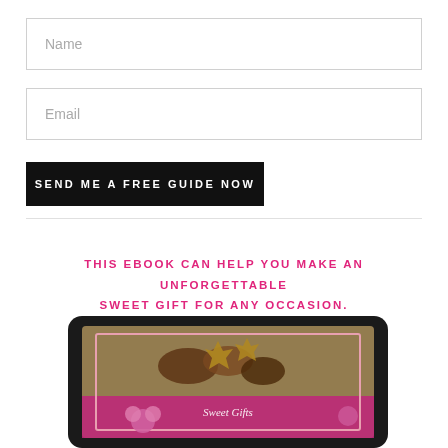Name
Email
SEND ME A FREE GUIDE NOW
THIS EBOOK CAN HELP YOU MAKE AN UNFORGETTABLE SWEET GIFT FOR ANY OCCASION.
[Figure (illustration): Tablet device showing a chocolate/sweets ebook cover with flowers and chocolates]